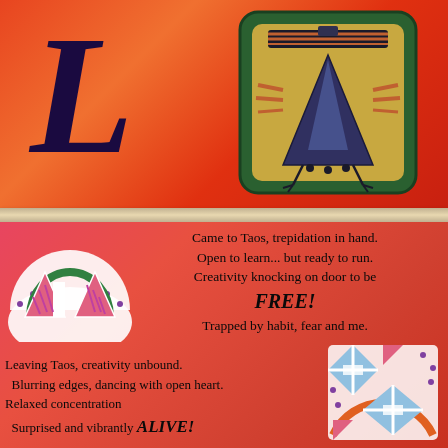[Figure (illustration): Large decorative letter L in dark navy/black italic serif font on orange-red painted background]
[Figure (illustration): Southwestern/Native American style artwork in a rounded square frame. Green border surrounds a golden-tan background with a stylized bird/thunderbird figure depicted in geometric shapes — triangular body, striped wings, small feet, with decorative elements at top.]
[Figure (illustration): Left decorative circular fan/flower art with pink triangles, green arch, striped sections, and polka dots on white/cream background]
Came to Taos, trepidation in hand.
Open to learn... but ready to run.
Creativity knocking on door to be
FREE!
Trapped by habit, fear and me.
Leaving Taos, creativity unbound.
Blurring edges, dancing with open heart.
Relaxed concentration
Surprised and vibrantly ALIVE!
[Figure (illustration): Right decorative geometric art with blue/white striped diamond shapes, triangles, dots, and curved orange arc on white background]